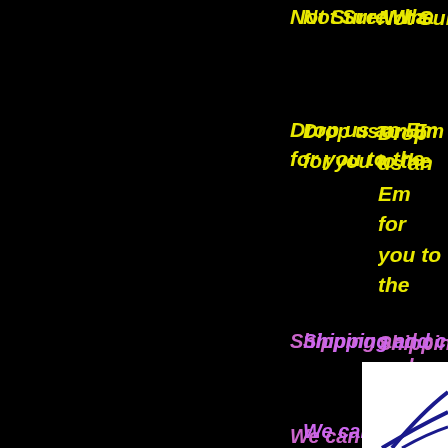Not Sure Wha
Drop us an Em for you to the
Shipping and c
We can and w
Poh Teck T
[Figure (illustration): Partial logo or graphic with curved lines on white background, bottom right corner]